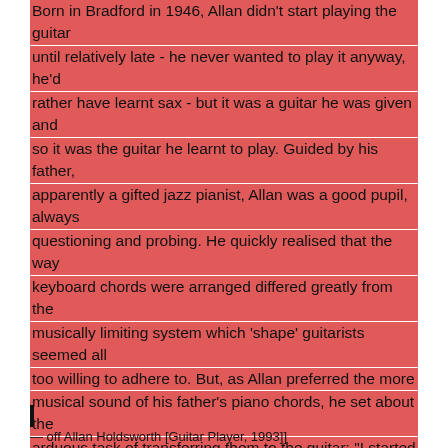Born in Bradford in 1946, Allan didn't start playing the guitar until relatively late - he never wanted to play it anyway, he'd rather have learnt sax - but it was a guitar he was given and so it was the guitar he learnt to play. Guided by his father, apparently a gifted jazz pianist, Allan was a good pupil, always questioning and probing. He quickly realised that the way keyboard chords were arranged differed greatly from the musically limiting system which 'shape' guitarists seemed all too willing to adhere to. But, as Allan preferred the more musical sound of his father's piano chords, he set about the arduous task of transferring them to the guitar: "I started experimenting... taking a triad and going through all the inversions I could get on the lower three strings. Then I'd do the same on the next three, then take a four note chord and do the same... and so on. Then I'd write them all out, find the ones I liked and discard the ones I didn't." It was this approach that gave Allan his amazing chord vocabulary and led to those tendon-defying stretches - seven or eight frets sometimes - that still put his imitators to shame.
— off Allan Holdsworth [Guitar Player, 1993]]